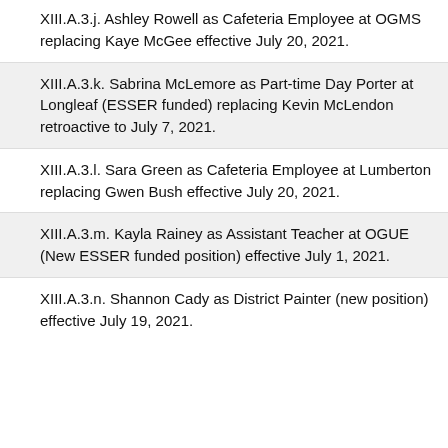XIII.A.3.j. Ashley Rowell as Cafeteria Employee at OGMS replacing Kaye McGee effective July 20, 2021.
XIII.A.3.k. Sabrina McLemore as Part-time Day Porter at Longleaf (ESSER funded) replacing Kevin McLendon retroactive to July 7, 2021.
XIII.A.3.l. Sara Green as Cafeteria Employee at Lumberton replacing Gwen Bush effective July 20, 2021.
XIII.A.3.m. Kayla Rainey as Assistant Teacher at OGUE (New ESSER funded position) effective July 1, 2021.
XIII.A.3.n. Shannon Cady as District Painter (new position) effective July 19, 2021.